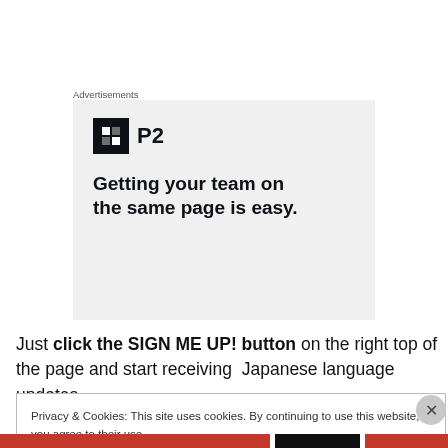Advertisements
[Figure (logo): P2 company advertisement with logo icon (dark square with grid symbol) and text 'P2', tagline: 'Getting your team on the same page is easy.']
Just click the SIGN ME UP! button on the right top of the page and start receiving Japanese language updates.
Privacy & Cookies: This site uses cookies. By continuing to use this website, you agree to their use.
To find out more, including how to control cookies, see here: Cookie Policy
Close and accept